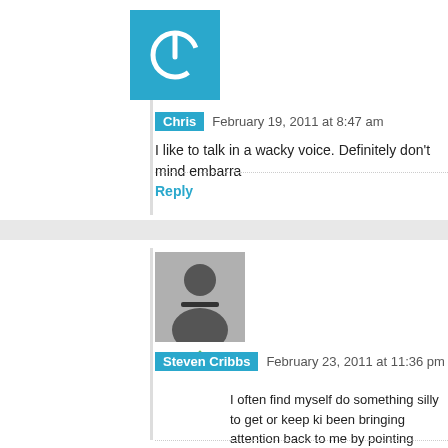[Figure (illustration): Blue square avatar with white power button icon]
Chris  February 19, 2011 at 8:47 am
I like to talk in a wacky voice. Definitely don't mind embarra
Reply
[Figure (photo): Black and white photo of a man smiling]
Steven Cribbs  February 23, 2011 at 11:36 pm
I often find myself do something silly to get or keep ki been bringing attention back to me by pointing betwe "Look right here. Not at my right eye. Not at my left ey my eyes." Then, I wait until everyone is staring at me. year-old son decided to give me attention the other da between my eyes – and he told me that he wasn't loo left eye; but between my eyes". 😉